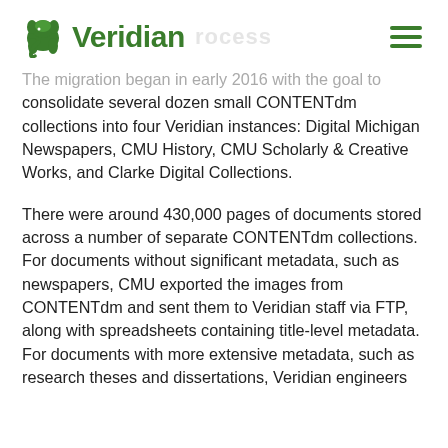Veridian
The migration began in early 2016 with the goal to consolidate several dozen small CONTENTdm collections into four Veridian instances: Digital Michigan Newspapers, CMU History, CMU Scholarly & Creative Works, and Clarke Digital Collections.
There were around 430,000 pages of documents stored across a number of separate CONTENTdm collections. For documents without significant metadata, such as newspapers, CMU exported the images from CONTENTdm and sent them to Veridian staff via FTP, along with spreadsheets containing title-level metadata. For documents with more extensive metadata, such as research theses and dissertations, Veridian engineers